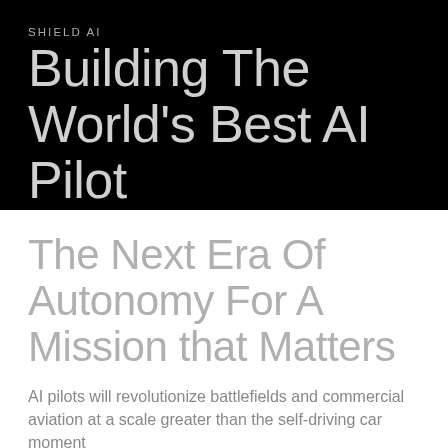SHIELD AI
Building The World's Best AI Pilot
The Next Era Of Autonomy For A Mission that Matters
AI pilots will revolutionize battlefields and commercial aviation at a scale greater than the self-driving car moment